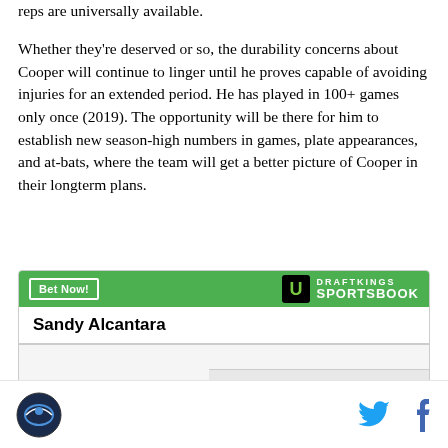reps are universally available.
Whether they're deserved or so, the durability concerns about Cooper will continue to linger until he proves capable of avoiding injuries for an extended period. He has played in 100+ games only once (2019). The opportunity will be there for him to establish new season-high numbers in games, plate appearances, and at-bats, where the team will get a better picture of Cooper in their longterm plans.
[Figure (other): DraftKings Sportsbook betting widget showing Sandy Alcantara with a Bet Now button and green header]
Site logo icon on left, Twitter and Facebook share icons on right